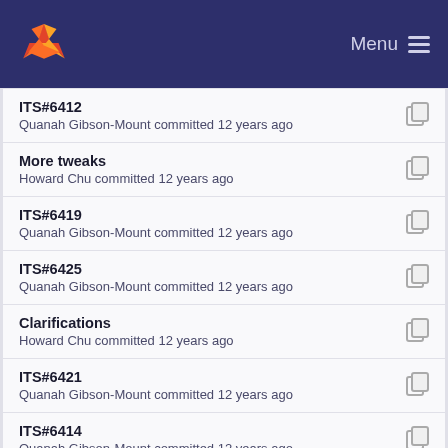Menu
ITS#6412
Quanah Gibson-Mount committed 12 years ago
More tweaks
Howard Chu committed 12 years ago
ITS#6419
Quanah Gibson-Mount committed 12 years ago
ITS#6425
Quanah Gibson-Mount committed 12 years ago
Clarifications
Howard Chu committed 12 years ago
ITS#6421
Quanah Gibson-Mount committed 12 years ago
ITS#6414
Quanah Gibson-Mount committed 12 years ago
ITS#6403